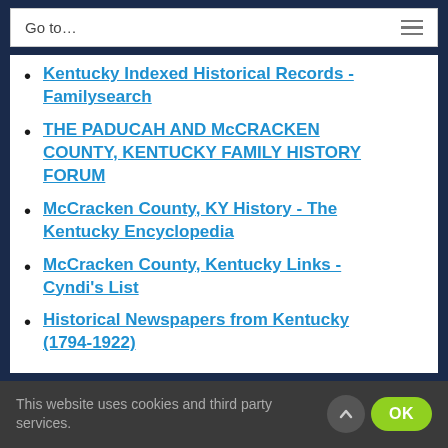Go to…
Kentucky Indexed Historical Records - Familysearch
THE PADUCAH AND McCRACKEN COUNTY, KENTUCKY FAMILY HISTORY FORUM
McCracken County, KY History - The Kentucky Encyclopedia
McCracken County, Kentucky Links - Cyndi's List
Historical Newspapers from Kentucky (1794-1922)
This website uses cookies and third party services.